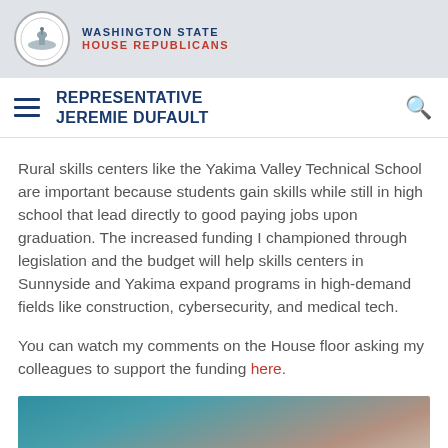WASHINGTON STATE HOUSE REPUBLICANS
REPRESENTATIVE JEREMIE DUFAULT
Rural skills centers like the Yakima Valley Technical School are important because students gain skills while still in high school that lead directly to good paying jobs upon graduation. The increased funding I championed through legislation and the budget will help skills centers in Sunnyside and Yakima expand programs in high-demand fields like construction, cybersecurity, and medical tech.
You can watch my comments on the House floor asking my colleagues to support the funding here.
[Figure (photo): Partial photo of outdoor scene with teal/blue sky gradient at bottom of page]